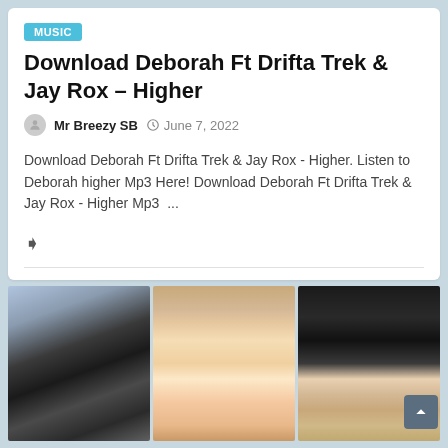MUSIC
Download Deborah Ft Drifta Trek & Jay Rox – Higher
Mr Breezy SB   June 7, 2022
Download Deborah Ft Drifta Trek & Jay Rox - Higher. Listen to Deborah higher Mp3 Here! Download Deborah Ft Drifta Trek & Jay Rox - Higher Mp3 ...
[Figure (photo): Three portrait photos of people with different hairstyles: braided hair, blonde hair with makeup, and natural curly dark hair]
[Figure (photo): Person with braided/box braids hairstyle against blue sky background]
[Figure (photo): Person with blonde hair and glam makeup with pink eyeshadow]
[Figure (photo): Person with natural curly dark hair]